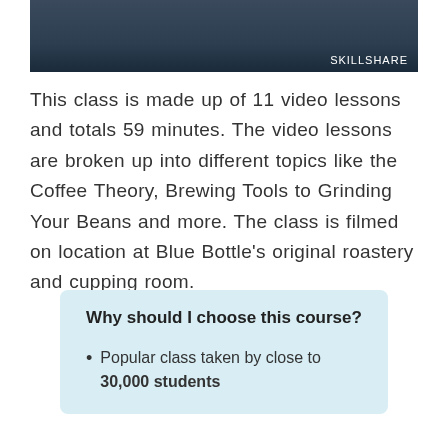[Figure (photo): A dark-themed header image showing coffee equipment/lab setting with SKILLSHARE branding in the bottom right corner]
This class is made up of 11 video lessons and totals 59 minutes. The video lessons are broken up into different topics like the Coffee Theory, Brewing Tools to Grinding Your Beans and more. The class is filmed on location at Blue Bottle's original roastery and cupping room.
Why should I choose this course?
Popular class taken by close to 30,000 students